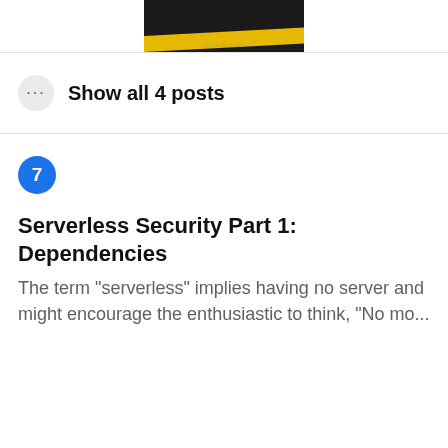[Figure (photo): Partial book cover with dark background, author name 'Miguel A. Calles' in gold text, and yellow diagonal stripe at the bottom]
Show all 4 posts
[Figure (other): Blue circle badge with number 7]
Serverless Security Part 1: Dependencies
The term "serverless" implies having no server and might encourage the enthusiastic to think, "No mo...